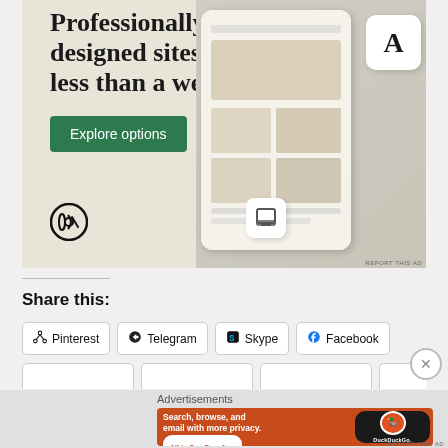[Figure (screenshot): WordPress advertisement: 'Professionally designed sites in less than a week' with an Explore options button, WordPress logo, and mockup of website designs on mobile screen. Beige background.]
Share this:
Pinterest   Telegram   Skype   Facebook
[Figure (screenshot): DuckDuckGo advertisement: 'Search, browse, and email with more privacy. All in One Free App' on orange/red background with DuckDuckGo logo and duck icon on phone mockup. Label: Advertisements.]